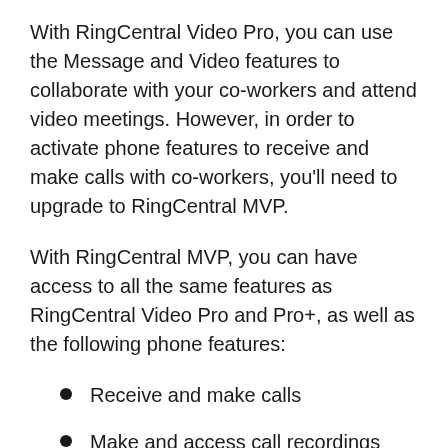With RingCentral Video Pro, you can use the Message and Video features to collaborate with your co-workers and attend video meetings. However, in order to activate phone features to receive and make calls with co-workers, you'll need to upgrade to RingCentral MVP.
With RingCentral MVP, you can have access to all the same features as RingCentral Video Pro and Pro+, as well as the following phone features:
Receive and make calls
Make and access call recordings
Access and listen to voicemail